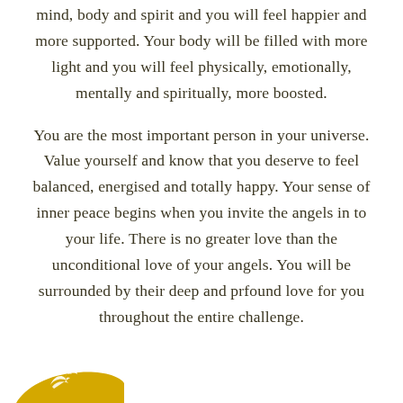mind, body and spirit and you will feel happier and more supported. Your body will be filled with more light and you will feel physically, emotionally, mentally and spiritually, more boosted.

You are the most important person in your universe. Value yourself and know that you deserve to feel balanced, energised and totally happy. Your sense of inner peace begins when you invite the angels in to your life. There is no greater love than the unconditional love of your angels. You will be surrounded by their deep and prfound love for you throughout the entire challenge.
[Figure (logo): Partial golden/yellow logo with a bird or angel silhouette at bottom left corner]